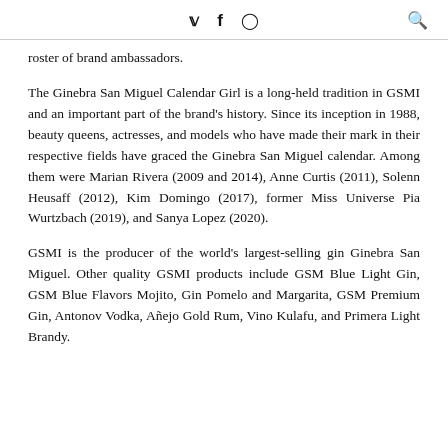Twitter Facebook Instagram Search
roster of brand ambassadors.
The Ginebra San Miguel Calendar Girl is a long-held tradition in GSMI and an important part of the brand's history. Since its inception in 1988, beauty queens, actresses, and models who have made their mark in their respective fields have graced the Ginebra San Miguel calendar. Among them were Marian Rivera (2009 and 2014), Anne Curtis (2011), Solenn Heusaff (2012), Kim Domingo (2017), former Miss Universe Pia Wurtzbach (2019), and Sanya Lopez (2020).
GSMI is the producer of the world's largest-selling gin Ginebra San Miguel. Other quality GSMI products include GSM Blue Light Gin, GSM Blue Flavors Mojito, Gin Pomelo and Margarita, GSM Premium Gin, Antonov Vodka, Añejo Gold Rum, Vino Kulafu, and Primera Light Brandy.